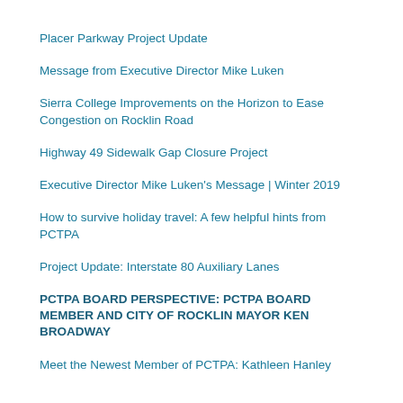Placer Parkway Project Update
Message from Executive Director Mike Luken
Sierra College Improvements on the Horizon to Ease Congestion on Rocklin Road
Highway 49 Sidewalk Gap Closure Project
Executive Director Mike Luken's Message | Winter 2019
How to survive holiday travel: A few helpful hints from PCTPA
Project Update: Interstate 80 Auxiliary Lanes
PCTPA BOARD PERSPECTIVE: PCTPA BOARD MEMBER AND CITY OF ROCKLIN MAYOR KEN BROADWAY
Meet the Newest Member of PCTPA: Kathleen Hanley